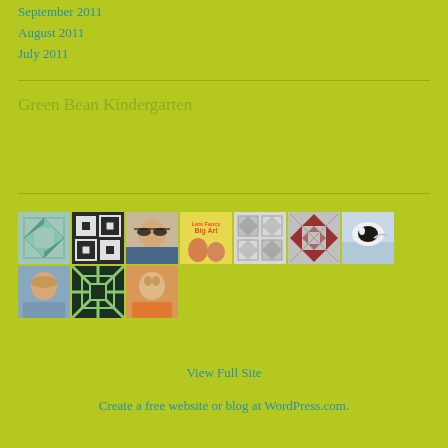September 2011
August 2011
July 2011
Green Bean Kindergarten
[Figure (photo): Grid of 10 avatar/profile images including quilt patterns and people photos]
View Full Site
Create a free website or blog at WordPress.com.